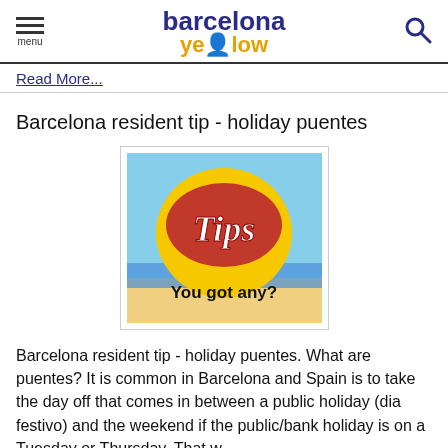menu | barcelona yellow | search
Read More...
Barcelona resident tip - holiday puentes
[Figure (illustration): Tips image - a Lays chip bag styled circular logo with text 'Tips' and below it 'You got any?' on a beach background]
Barcelona resident tip - holiday puentes. What are puentes? It is common in Barcelona and Spain is to take the day off that comes in between a public holiday (dia festivo) and the weekend if the public/bank holiday is on a Tuesday or Thursday. That w ...
Read More...